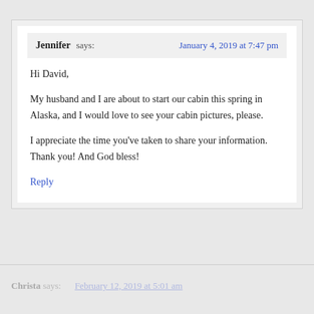Jennifer says: January 4, 2019 at 7:47 pm
Hi David,

My husband and I are about to start our cabin this spring in Alaska, and I would love to see your cabin pictures, please.

I appreciate the time you've taken to share your information. Thank you! And God bless!
Reply
Christa says: February 12, 2019 at 5:01 am